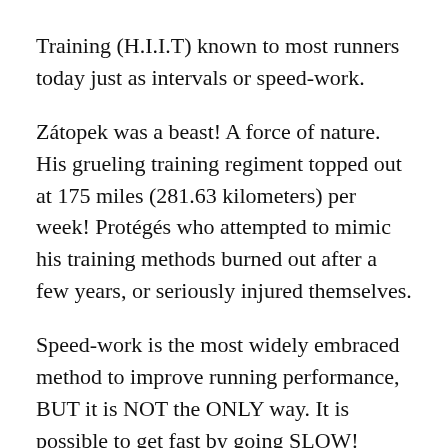Training (H.I.I.T) known to most runners today just as intervals or speed-work.
Zátopek was a beast! A force of nature. His grueling training regiment topped out at 175 miles (281.63 kilometers) per week! Protégés who attempted to mimic his training methods burned out after a few years, or seriously injured themselves.
Speed-work is the most widely embraced method to improve running performance, BUT it is NOT the ONLY way. It is possible to get fast by going SLOW!
An unlikely coincidence